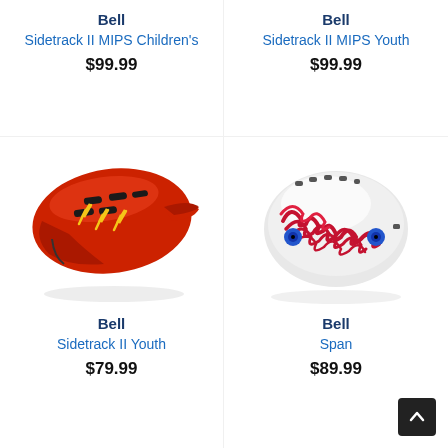Bell
Sidetrack II MIPS Children's
$99.99
Bell
Sidetrack II MIPS Youth
$99.99
[Figure (photo): Red Bell Sidetrack II MIPS Children's bicycle helmet with yellow lightning bolt graphics, viewed from the side]
[Figure (photo): White Bell Span youth helmet with red hair/tentacle graphic design and blue eye graphics, viewed from the side]
Bell
Sidetrack II Youth
$79.99
Bell
Span
$89.99